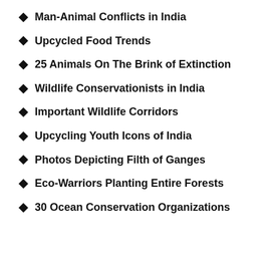Man-Animal Conflicts in India
Upcycled Food Trends
25 Animals On The Brink of Extinction
Wildlife Conservationists in India
Important Wildlife Corridors
Upcycling Youth Icons of India
Photos Depicting Filth of Ganges
Eco-Warriors Planting Entire Forests
30 Ocean Conservation Organizations